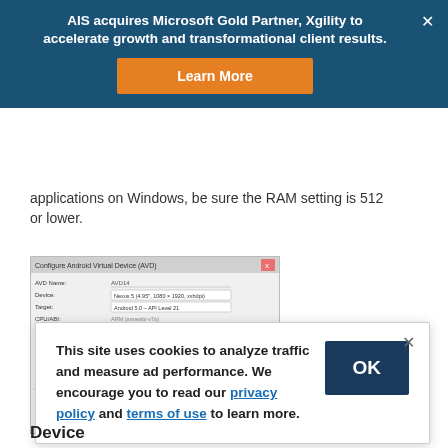AIS acquires Microsoft Gold Partner, Xgility to accelerate growth and transformational client results.
applications on Windows, be sure the RAM setting is 512 or lower.
[Figure (screenshot): Screenshot of Android Virtual Device (AVD) configuration dialog in Android development environment]
This site uses cookies to analyze traffic and measure ad performance. We encourage you to read our privacy policy and terms of use to learn more.
Device